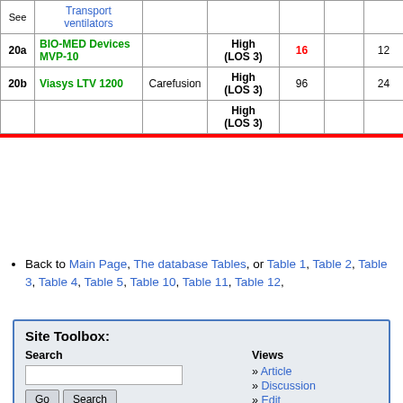| Sec | Device | Manufacturer | Priority | Value1 | Col6 | Col7 |
| --- | --- | --- | --- | --- | --- | --- |
| See | Transport ventilators |  |  |  |  |  |
| 20a | BIO-MED Devices MVP-10 |  | High (LOS 3) | 16 |  | 12 |
| 20b | Viasys LTV 1200 | Carefusion | High (LOS 3) | 96 |  | 24 |
|  |  |  | High (LOS 3) |  |  |  |
Back to Main Page, The database Tables, or Table 1, Table 2, Table 3, Table 4, Table 5, Table 10, Table 11, Table 12,
Site Toolbox:
Search | Views: Article, Discussion, Edit, History
Toolbox | Personal tools | Navigation